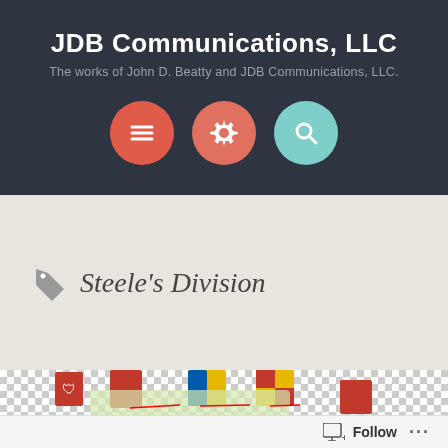JDB Communications, LLC
The works of John D. Beatty and JDB Communications, LLC.
[Figure (screenshot): Navigation buttons: three circular icons — a dark red hamburger menu icon, a salmon-colored gear/settings icon, and a teal search/magnifying glass icon]
Steele's Division
[Figure (illustration): Partial view of a map with heraldic coat of arms shields for German regions (Hamburg, Schleswig-Holstein, Mecklenburg-Vorpommern, Brandenburg) with red lines connecting shields to map locations, on a transparent checkered background]
Follow ...